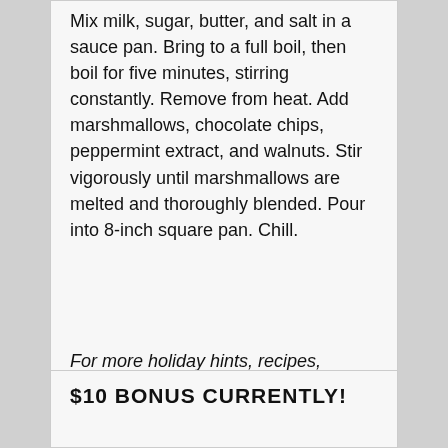Mix milk, sugar, butter, and salt in a sauce pan. Bring to a full boil, then boil for five minutes, stirring constantly. Remove from heat. Add marshmallows, chocolate chips, peppermint extract, and walnuts. Stir vigorously until marshmallows are melted and thoroughly blended. Pour into 8-inch square pan. Chill.
For more holiday hints, recipes, gardening, organizing tips, home decorating, and more, visit Creative Homemaking at http://www.creativehomemaking.com.
$10 BONUS CURRENTLY!